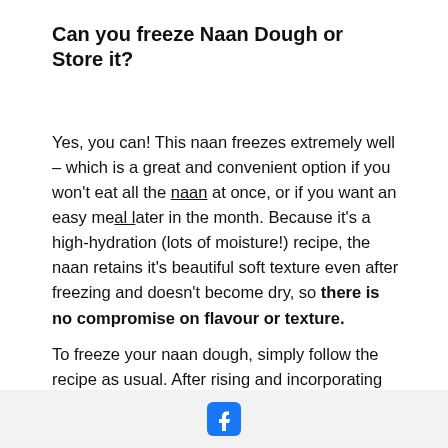Can you freeze Naan Dough or Store it?
Yes, you can! This naan freezes extremely well – which is a great and convenient option if you won't eat all the naan at once, or if you want an easy meal later in the month. Because it's a high-hydration (lots of moisture!) recipe, the naan retains it's beautiful soft texture even after freezing and doesn't become dry, so there is no compromise on flavour or texture.
To freeze your naan dough, simply follow the recipe as usual. After rising and incorporating the flour, portion into 8 dough balls and oil each of them very
[Figure (logo): Facebook logo icon in blue]